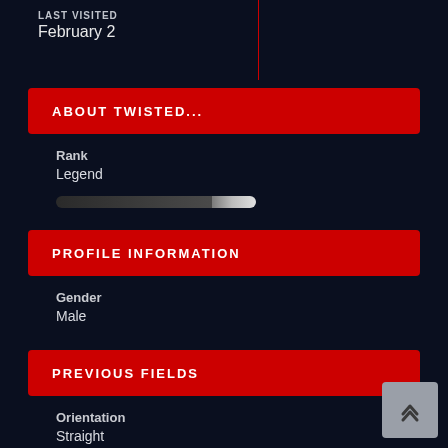LAST VISITED
February 2
ABOUT TWISTED...
Rank
Legend
[Figure (other): Progress bar, mostly filled, dark gray with light tip]
PROFILE INFORMATION
Gender
Male
PREVIOUS FIELDS
Orientation
Straight